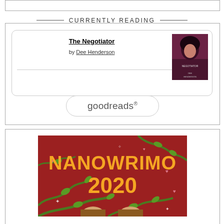CURRENTLY READING
The Negotiator by Dee Henderson
[Figure (logo): Goodreads logo button with rounded rectangle border]
[Figure (illustration): NaNoWriMo 2020 promotional banner with orange text on red background with green vines decoration]